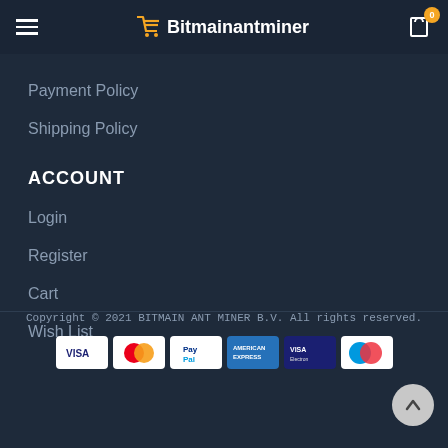Bitmainantminer
Payment Policy
Shipping Policy
ACCOUNT
Login
Register
Cart
Wish List
Copyright © 2021 BITMAIN ANT MINER B.V. All rights reserved.
[Figure (logo): Payment method icons: VISA, Mastercard, PayPal, American Express, VISA Electron, Maestro]